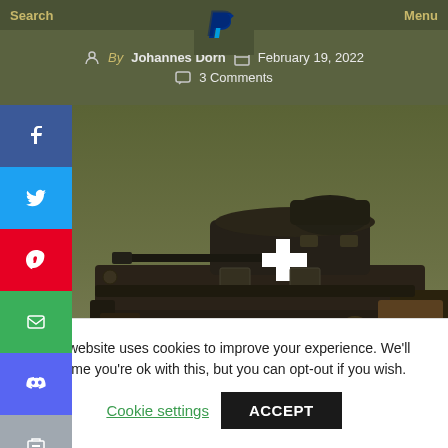Search   Menu
By Johannes Dorn   February 19, 2022   3 Comments
[Figure (illustration): 3D rendered illustration of a WWII-era Panzer I tank with dark olive/brown coloring, white cross insignia on the turret side, viewed from the left side. The tank has visible track wheels and a gun barrel extending from the turret.]
This website uses cookies to improve your experience. We'll assume you're ok with this, but you can opt-out if you wish.
Cookie settings   ACCEPT